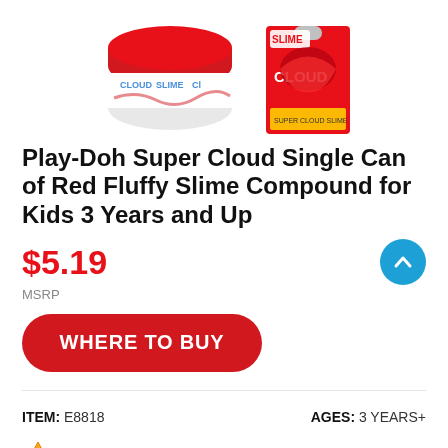[Figure (photo): Two product images: a red-lidded Play-Doh Super Cloud slime canister on the left, and a Play-Doh Super Cloud slime single-serve package on the right]
Play-Doh Super Cloud Single Can of Red Fluffy Slime Compound for Kids 3 Years and Up
$5.19
MSRP
WHERE TO BUY
ITEM: E8818
AGES: 3 YEARS+